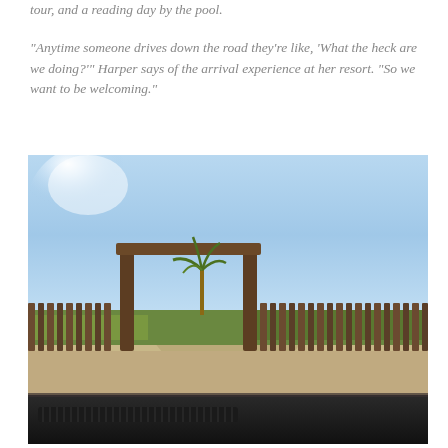tour, and a reading day by the pool.
“Anytime someone drives down the road they’re like, ‘What the heck are we doing?’” Harper says of the arrival experience at her resort. “So we want to be welcoming.”
[Figure (photo): Photograph taken from inside a car showing a wooden gate/entrance structure with vertical wooden fence posts on either side, a dry desert landscape with a palm tree visible through the gate, and a clear blue sky. The car dashboard is visible at the bottom of the frame.]